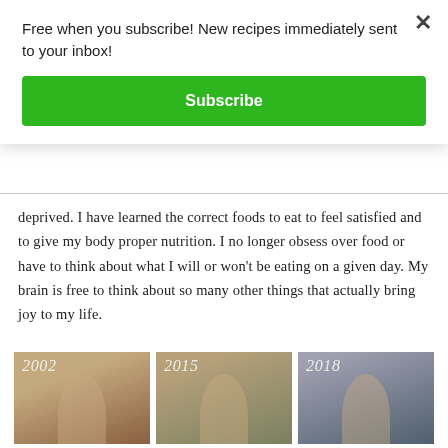Free when you subscribe! New recipes immediately sent to your inbox!
Subscribe
deprived. I have learned the correct foods to eat to feel satisfied and to give my body proper nutrition. I no longer obsess over food or have to think about what I will or won’t be eating on a given day. My brain is free to think about so many other things that actually bring joy to my life.
[Figure (photo): Three photos of the same woman at different years: 2002, 2015, and 2018, showing her transformation over time.]